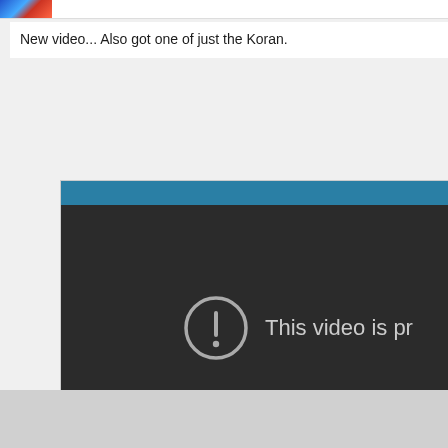[Figure (screenshot): Small avatar/profile image thumbnail in top-left corner, showing a blue and red gradient image]
New video... Also got one of just the Koran.
[Figure (screenshot): Embedded video player with teal/blue header bar and dark background showing a private video error message: an exclamation mark circle icon and 'This video is pr...' (This video is private)]